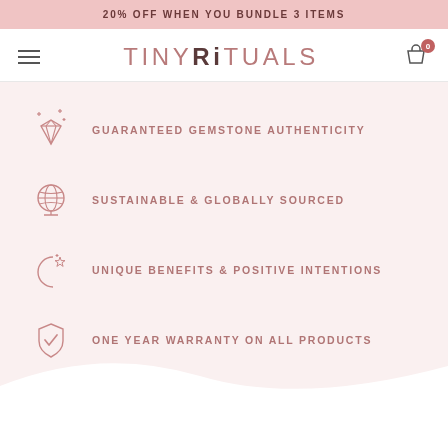20% OFF WHEN YOU BUNDLE 3 ITEMS
TINYRiTUALS
GUARANTEED GEMSTONE AUTHENTICITY
SUSTAINABLE & GLOBALLY SOURCED
UNIQUE BENEFITS & POSITIVE INTENTIONS
ONE YEAR WARRANTY ON ALL PRODUCTS